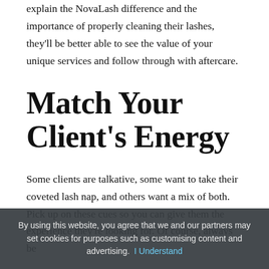explain the NovaLash difference and the importance of properly cleaning their lashes, they'll be better able to see the value of your unique services and follow through with aftercare.
Match Your Client's Energy
Some clients are talkative, some want to take their coveted lash nap, and others want a mix of both. Pick up on these cues so you can give them the experience they're looking for. Of course, always be
By using this website, you agree that we and our partners may set cookies for purposes such as customising content and advertising.  I Understand